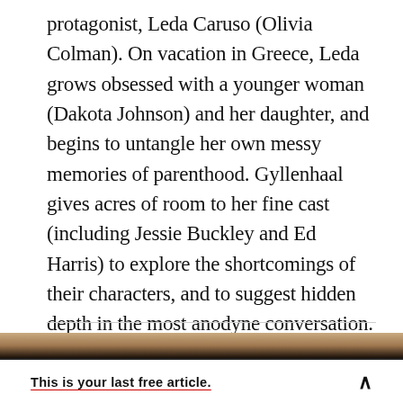protagonist, Leda Caruso (Olivia Colman). On vacation in Greece, Leda grows obsessed with a younger woman (Dakota Johnson) and her daughter, and begins to untangle her own messy memories of parenthood. Gyllenhaal gives acres of room to her fine cast (including Jessie Buckley and Ed Harris) to explore the shortcomings of their characters, and to suggest hidden depth in the most anodyne conversation. It’s a thrilling debut.
[Figure (photo): Partial photo strip visible at bottom of page, showing what appears to be a person, cropped]
This is your last free article.